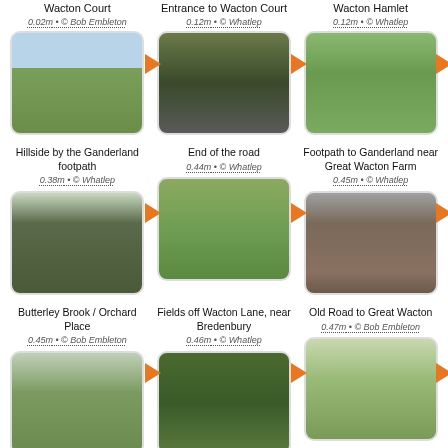[Figure (photo): Wacton Court - landscape photo of grassy field]
Wacton Court
0.02m • © Bob Embleton
[Figure (photo): Entrance to Wacton Court - path through hedges]
Entrance to Wacton Court
0.12m • © Whatlep
[Figure (photo): Wacton Hamlet - footpath through fields]
Wacton Hamlet
0.12m • © Whatlep
[Figure (photo): Hillside by the Ganderland footpath - grassy hillside]
Hillside by the Ganderland footpath
0.38m • © Whatlep
[Figure (photo): End of the road - narrow lane]
End of the road
0.44m • © Whatlep
[Figure (photo): Footpath to Ganderland near Great Wacton Farm]
Footpath to Ganderland near Great Wacton Farm
0.45m • © Whatlep
[Figure (photo): Butterley Brook / Orchard Place - tree-lined road]
Butterley Brook / Orchard Place
0.45m • © Bob Embleton
[Figure (photo): Fields off Wacton Lane, near Bredenbury - open fields]
Fields off Wacton Lane, near Bredenbury
0.46m • © Whatlep
[Figure (photo): Old Road to Great Wacton - muddy track]
Old Road to Great Wacton
0.47m • © Bob Embleton
[Figure (photo): Partial photo row 4 left]
[Figure (photo): Partial photo row 4 center]
[Figure (photo): Partial photo row 4 right]